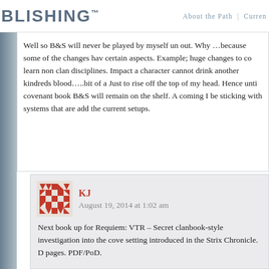BLISHING™  About the Path  |  Curren
Well so B&S will never be played by myself un out. Why …because some of the changes hav certain aspects. Example; huge changes to co learn non clan disciplines. Impact a character cannot drink another kindreds blood…..bit of a Just to rise off the top of my head. Hence unti covenant book B&S will remain on the shelf. A coming I be sticking with systems that are add the current setups.
KJ
August 19, 2014 at 1:02 am
Next book up for Requiem: VTR – Secret clanbook-style investigation into the cove setting introduced in the Strix Chronicle. D pages. PDF/PoD.